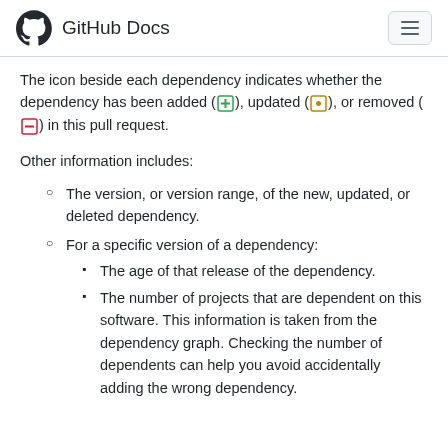GitHub Docs
The icon beside each dependency indicates whether the dependency has been added (+), updated (•), or removed (-) in this pull request.
Other information includes:
The version, or version range, of the new, updated, or deleted dependency.
For a specific version of a dependency:
The age of that release of the dependency.
The number of projects that are dependent on this software. This information is taken from the dependency graph. Checking the number of dependents can help you avoid accidentally adding the wrong dependency.